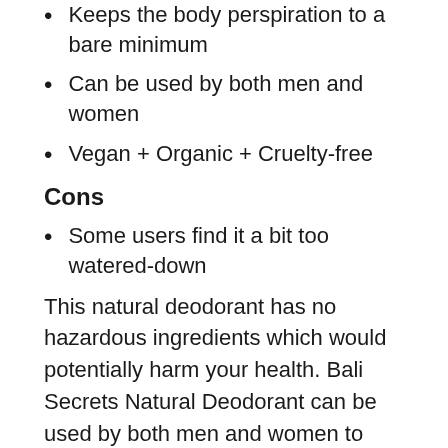Keeps the body perspiration to a bare minimum
Can be used by both men and women
Vegan + Organic + Cruelty-free
Cons
Some users find it a bit too watered-down
This natural deodorant has no hazardous ingredients which would potentially harm your health. Bali Secrets Natural Deodorant can be used by both men and women to remain cool and suppress all odors created through sweating.
Primal Pit Paste All-Natural Deodorant for Men